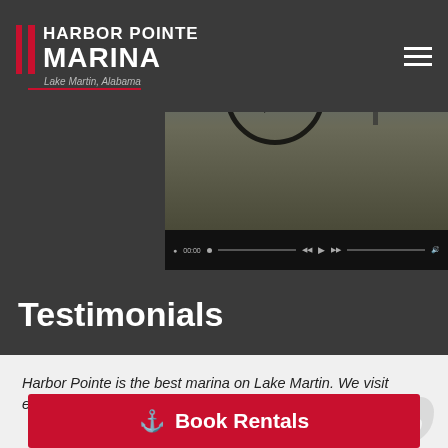HARBOR POINTE MARINA — Lake Martin, Alabama
[Figure (screenshot): Video thumbnail showing marina with boats docked, with a play button circle overlay. Text overlay reads 'Play Virtual Tour'. Video controls bar visible at bottom.]
Testimonials
Harbor Pointe is the best marina on Lake Martin. We visit every summer!
Grant S.
We just love the ship store. They have everything we need for a great day at the lake!
B
Jim in the Service Department is very efficient and